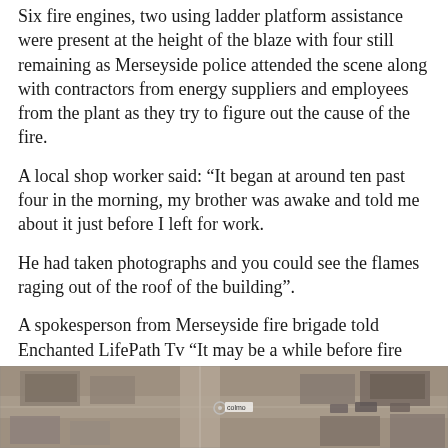Six fire engines, two using ladder platform assistance were present at the height of the blaze with four still remaining as Merseyside police attended the scene along with contractors from energy suppliers and employees from the plant as they try to figure out the cause of the fire.
A local shop worker said: “It began at around ten past four in the morning, my brother was awake and told me about it just before I left for work.
He had taken photographs and you could see the flames raging out of the roof of the building”.
A spokesperson from Merseyside fire brigade told Enchanted LifePath Tv “It may be a while before fire crews leave the scene of the fire with the number of fire engines attending set to reduce throughout the day from six to four down to the last one”
[Figure (photo): Aerial/satellite map view showing buildings, roads and terrain from above, partially visible at the bottom of the page.]